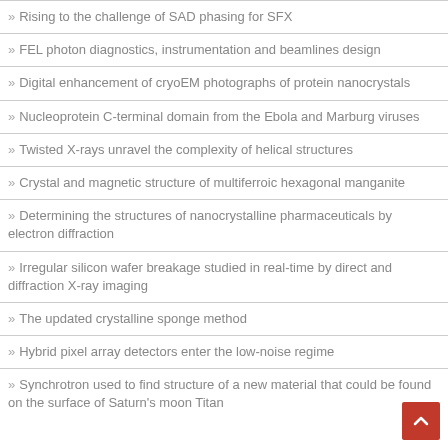Rising to the challenge of SAD phasing for SFX
FEL photon diagnostics, instrumentation and beamlines design
Digital enhancement of cryoEM photographs of protein nanocrystals
Nucleoprotein C-terminal domain from the Ebola and Marburg viruses
Twisted X-rays unravel the complexity of helical structures
Crystal and magnetic structure of multiferroic hexagonal manganite
Determining the structures of nanocrystalline pharmaceuticals by electron diffraction
Irregular silicon wafer breakage studied in real-time by direct and diffraction X-ray imaging
The updated crystalline sponge method
Hybrid pixel array detectors enter the low-noise regime
Synchrotron used to find structure of a new material that could be found on the surface of Saturn's moon Titan